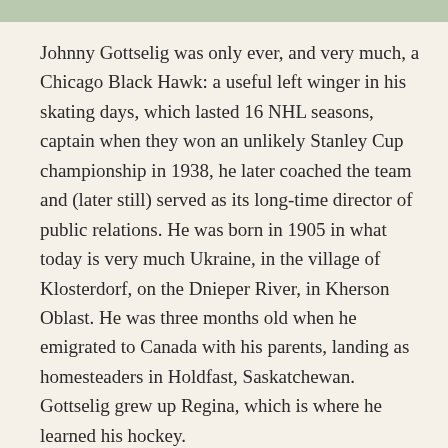[Figure (photo): Partial image strip visible at top of page]
Johnny Gottselig was only ever, and very much, a Chicago Black Hawk: a useful left winger in his skating days, which lasted 16 NHL seasons, captain when they won an unlikely Stanley Cup championship in 1938, he later coached the team and (later still) served as its long-time director of public relations. He was born in 1905 in what today is very much Ukraine, in the village of Klosterdorf, on the Dnieper River, in Kherson Oblast. He was three months old when he emigrated to Canada with his parents, landing as homesteaders in Holdfast, Saskatchewan. Gottselig grew up Regina, which is where he learned his hockey.
He picked up a stick early on, but as the story’s told, he only started on skates when he was 16. Seven years